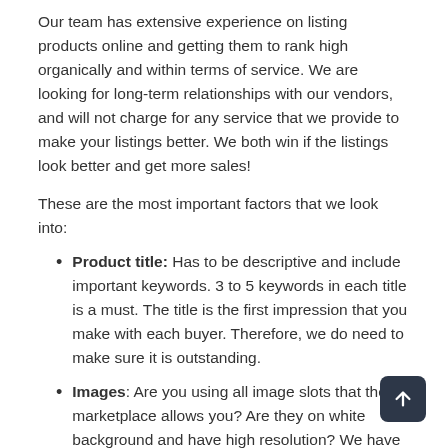Our team has extensive experience on listing products online and getting them to rank high organically and within terms of service. We are looking for long-term relationships with our vendors, and will not charge for any service that we provide to make your listings better. We both win if the listings look better and get more sales!
These are the most important factors that we look into:
Product title: Has to be descriptive and include important keywords. 3 to 5 keywords in each title is a must. The title is the first impression that you make with each buyer. Therefore, we do need to make sure it is outstanding.
Images: Are you using all image slots that the marketplace allows you? Are they on white background and have high resolution? We have a photo studio in our warehouse and we are happy to assist you in taking new/additional photos if needed.